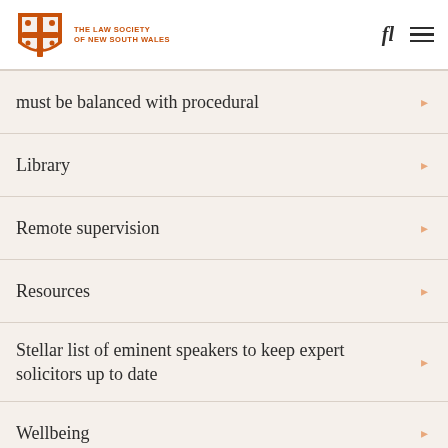THE LAW SOCIETY OF NEW SOUTH WALES
must be balanced with procedural
Library
Remote supervision
Resources
Stellar list of eminent speakers to keep expert solicitors up to date
Wellbeing
Workplace entitlements